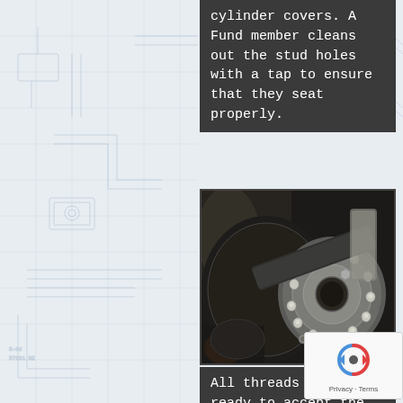cylinder covers. A Fund member cleans out the stud holes with a tap to ensure that they seat properly.
[Figure (photo): Close-up photograph of an engine component showing a circular flange with threaded studs around its perimeter, with vehicle axle or drivetrain components visible in the background. Threads have been recut.]
All threads recut ready to accept the rear bush and